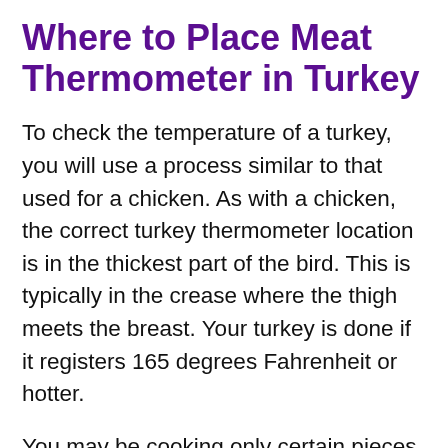Where to Place Meat Thermometer in Turkey
To check the temperature of a turkey, you will use a process similar to that used for a chicken. As with a chicken, the correct turkey thermometer location is in the thickest part of the bird. This is typically in the crease where the thigh meets the breast. Your turkey is done if it registers 165 degrees Fahrenheit or hotter.
You may be cooking only certain pieces of a turkey. For wings, you should insert the thermometer into the meaty section in or near the crease. For turkey breasts, place the tip into